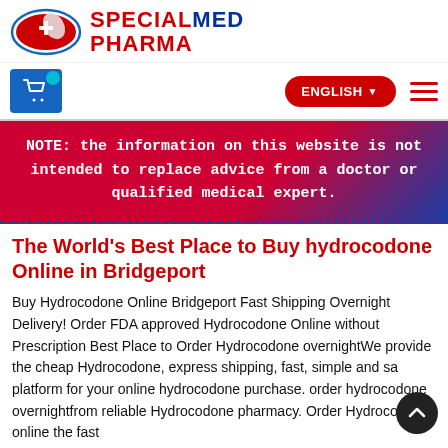[Figure (logo): SpecialMed Pharma logo: red oval pill with white cross and blue outline, text SPECIALMED PHARMA in blue and red]
[Figure (screenshot): Navigation bar with blue shopping cart icon, red ENGLISH language selector button with dropdown arrow, and red hamburger menu icon]
NOTE: the information on this website is not intended to replace advice from a doctor or qualified medical expert.
The World's Best Place to Buy hydrocodone Online in Bridgeport
Buy Hydrocodone Online Bridgeport Fast Shipping Overnight Delivery! Order FDA approved Hydrocodone Online without Prescription Best Place to Order Hydrocodone overnightWe provide the cheap Hydrocodone, express shipping, fast, simple and sa platform for your online hydrocodone purchase. order hydrocodone overnightfrom reliable Hydrocodone pharmacy. Order Hydrocodone online the fast